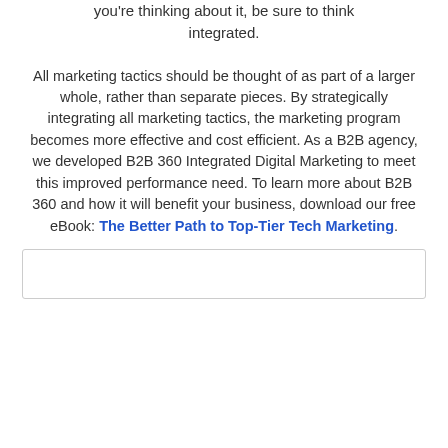you're thinking about it, be sure to think integrated.
All marketing tactics should be thought of as part of a larger whole, rather than separate pieces. By strategically integrating all marketing tactics, the marketing program becomes more effective and cost efficient. As a B2B agency, we developed B2B 360 Integrated Digital Marketing to meet this improved performance need. To learn more about B2B 360 and how it will benefit your business, download our free eBook: The Better Path to Top-Tier Tech Marketing.
[Figure (other): Empty box/container at the bottom of the page]